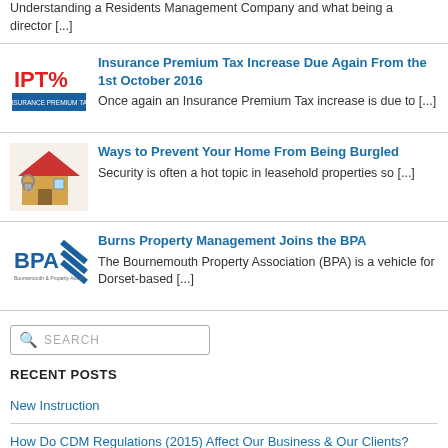Understanding a Residents Management Company and what being a director [...]
[Figure (logo): IPT% Insurance Premium Tax logo with red and blue text]
Insurance Premium Tax Increase Due Again From the 1st October 2016
Once again an Insurance Premium Tax increase is due to [...]
[Figure (photo): House with padlock and chain illustration]
Ways to Prevent Your Home From Being Burgled
Security is often a hot topic in leasehold properties so [...]
[Figure (logo): Burns Property Association (BPA) logo with blue diagonal stripes]
Burns Property Management Joins the BPA
The Bournemouth Property Association (BPA) is a vehicle for Dorset-based [...]
SEARCH
RECENT POSTS
New Instruction
How Do CDM Regulations (2015) Affect Our Business & Our Clients?